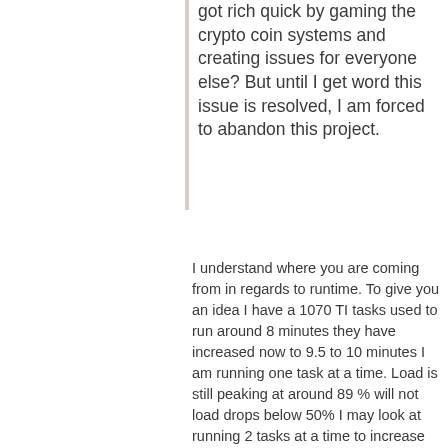got rich quick by gaming the crypto coin systems and creating issues for everyone else? But until I get word this issue is resolved, I am forced to abandon this project.
I understand where you are coming from in regards to runtime. To give you an idea I have a 1070 TI tasks used to run around 8 minutes they have increased now to 9.5 to 10 minutes I am running one task at a time. Load is still peaking at around 89 % will not load drops below 50% I may look at running 2 tasks at a time to increase the load